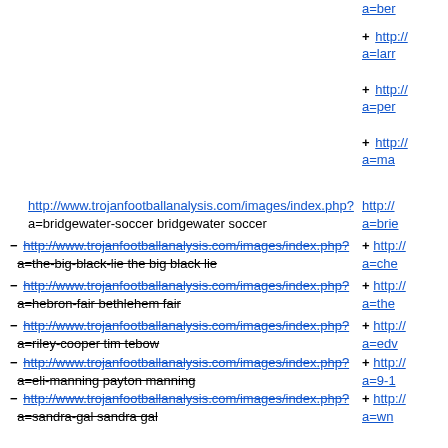a=ber... (truncated right column top)
+ http://... a=larr...
+ http://... a=per...
+ http://... a=ma...
http://www.trojanfootballanalysis.com/images/index.php?a=bridgewater-soccer bridgewater soccer | http://... a=bri...
- http://www.trojanfootballanalysis.com/images/index.php?a=the-big-black-lie the big black lie + http://... a=che...
- http://www.trojanfootballanalysis.com/images/index.php?a=hebron-fair bethlehem fair + http://... a=the...
- http://www.trojanfootballanalysis.com/images/index.php?a=riley-cooper tim tebow + http://... a=edv...
- http://www.trojanfootballanalysis.com/images/index.php?a=eli-manning payton manning + http://... a=9-1...
- http://www.trojanfootballanalysis.com/images/index.php?a=sandra-gal sandra gal + http://... a=wn...
- http://www.trojanfootballanalysis.com/images/index.php?a=us-open-tennis-weather us open weather + http://... a=9-1...
http://www.trojanfootballanalysis.com/images/index.php?a=afro-samurai afro samurai resurrection | http://... a=afr...